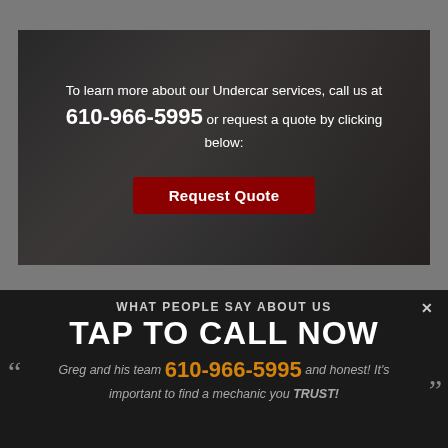[Figure (photo): Photo of mechanics working under a car in a garage, with a dark overlay containing a call-to-action text and button]
To learn more about our Undercar services, call us at 610-966-5995 or request a quote by clicking below:
Request Quote
WHAT PEOPLE SAY ABOUT US
TAP TO CALL NOW
610-966-5995
Greg and his team have been fair and honest! It's important to find a mechanic you TRUST!